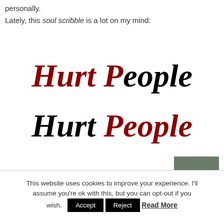personally.
Lately, this soul scribble is a lot on my mind:
[Figure (illustration): Two lines of stylized italic bold serif text reading 'Hurt People Hurt People'. First line: 'Hurt' in dark red, 'People' with red 'P' and black 'eople'. Second line: 'Hurt' in black, 'People' in dark red. Decorative typographic quote.]
This website uses cookies to improve your experience. I'll assume you're ok with this, but you can opt-out if you wish.
Accept
Reject
Read More